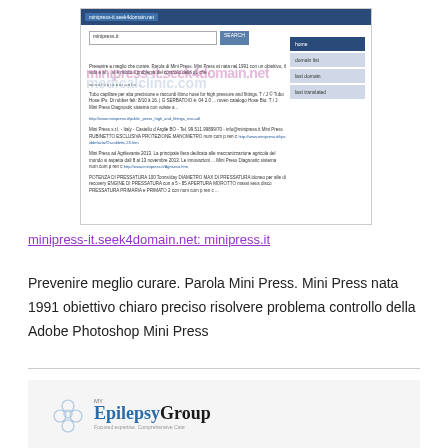[Figure (screenshot): Screenshot of minipress-it.seek4domain.net showing a domain search page for minipress.it with navigation links (home, domain list, last domain, last translated) and search results content about Mini Press company. A watermark reads 'minipress-it.seek4domain.net' and 'medicalclinic.com' overlaid on the screenshot.]
minipress-it.seek4domain.net: minipress.it
Prevenire meglio curare. Parola Mini Press. Mini Press nata 1991 obiettivo chiaro preciso risolvere problema controllo della Adobe Photoshop Mini Press
[Figure (logo): MyEpilepsyGroup logo with circular bubble/hexagon icons and text 'MyEpilepsyGroup' with tagline 'Focused expertise. Comprehensive Care']